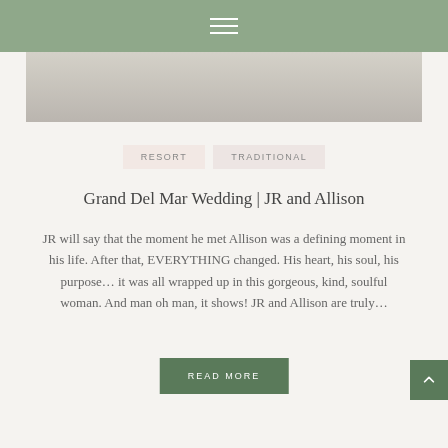≡
[Figure (photo): Wedding photo strip at top of page, light grey/beige tones]
RESORT   TRADITIONAL
Grand Del Mar Wedding | JR and Allison
JR will say that the moment he met Allison was a defining moment in his life. After that, EVERYTHING changed. His heart, his soul, his purpose… it was all wrapped up in this gorgeous, kind, soulful woman. And man oh man, it shows! JR and Allison are truly…
READ MORE